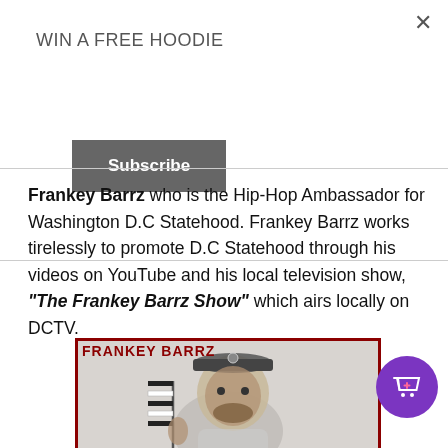WIN A FREE HOODIE
Subscribe
Frankey Barrz who is the Hip-Hop Ambassador for Washington D.C Statehood. Frankey Barrz works tirelessly to promote D.C Statehood through his videos on YouTube and his local television show, “The Frankey Barrz Show” which airs locally on DCTV.
[Figure (illustration): Illustrated portrait of Frankey Barrz wearing a military-style cap and holding a flag, rendered in black and white sketch style. The text 'FRANKEY BARRZ' appears in red at the top left of the image frame with a dark red border.]